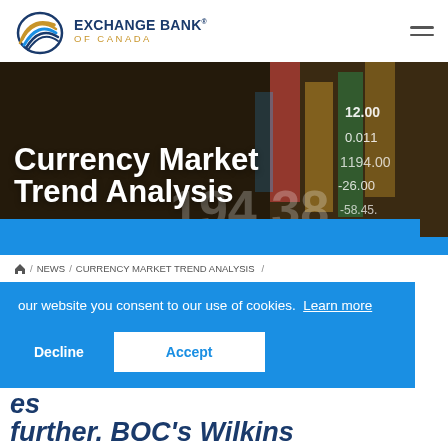Exchange Bank of Canada
[Figure (illustration): Hero banner with financial market data background showing stock numbers and colored bars, with large white bold text reading 'Currency Market Trend Analysis' and a blue bar below]
Currency Market Trend Analysis
Home / NEWS / CURRENCY MARKET TREND ANALYSIS / US/CHINA TRADE SENTIMENT DETER...
our website you consent to our use of cookies.  Learn more
Decline   Accept
further. BOC's Wilkins